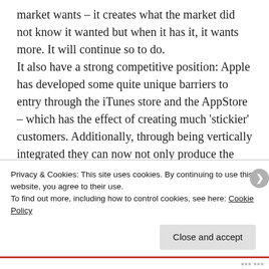market wants – it creates what the market did not know it wanted but when it has it, it wants more. It will continue so to do. It also have a strong competitive position: Apple has developed some quite unique barriers to entry through the iTunes store and the AppStore – which has the effect of creating much 'stickier' customers. Additionally, through being vertically integrated they can now not only produce the best product but can do so at the best prices – their
Privacy & Cookies: This site uses cookies. By continuing to use this website, you agree to their use.
To find out more, including how to control cookies, see here: Cookie Policy